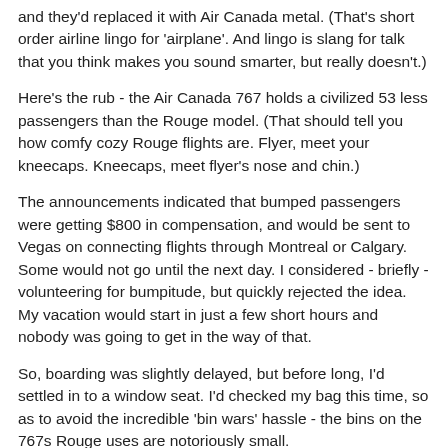and they'd replaced it with Air Canada metal. (That's short order airline lingo for 'airplane'. And lingo is slang for talk that you think makes you sound smarter, but really doesn't.)
Here's the rub - the Air Canada 767 holds a civilized 53 less passengers than the Rouge model. (That should tell you how comfy cozy Rouge flights are. Flyer, meet your kneecaps. Kneecaps, meet flyer's nose and chin.)
The announcements indicated that bumped passengers were getting $800 in compensation, and would be sent to Vegas on connecting flights through Montreal or Calgary. Some would not go until the next day. I considered - briefly - volunteering for bumpitude, but quickly rejected the idea. My vacation would start in just a few short hours and nobody was going to get in the way of that.
So, boarding was slightly delayed, but before long, I'd settled in to a window seat. I'd checked my bag this time, so as to avoid the incredible 'bin wars' hassle - the bins on the 767s Rouge uses are notoriously small.
A little old lady asked if she could sit next to me - she'd